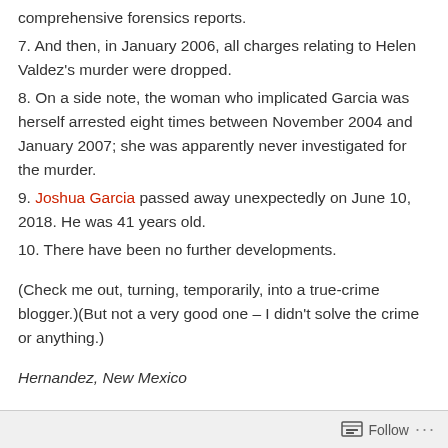comprehensive forensics reports.
7. And then, in January 2006, all charges relating to Helen Valdez's murder were dropped.
8. On a side note, the woman who implicated Garcia was herself arrested eight times between November 2004 and January 2007; she was apparently never investigated for the murder.
9. Joshua Garcia passed away unexpectedly on June 10, 2018. He was 41 years old.
10. There have been no further developments.
(Check me out, turning, temporarily, into a true-crime blogger.)(But not a very good one – I didn't solve the crime or anything.)
Hernandez, New Mexico
Follow